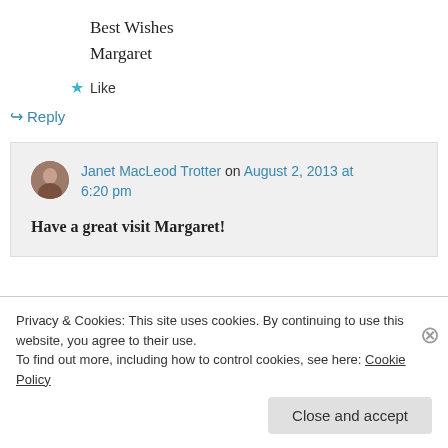Best Wishes
Margaret
★ Like
↳ Reply
Janet MacLeod Trotter on August 2, 2013 at 6:20 pm
Have a great visit Margaret!
Privacy & Cookies: This site uses cookies. By continuing to use this website, you agree to their use.
To find out more, including how to control cookies, see here: Cookie Policy
Close and accept